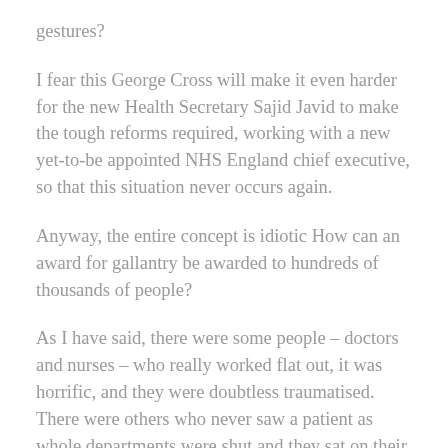gestures?
I fear this George Cross will make it even harder for the new Health Secretary Sajid Javid to make the tough reforms required, working with a new yet-to-be appointed NHS England chief executive, so that this situation never occurs again.
Anyway, the entire concept is idiotic How can an award for gallantry be awarded to hundreds of thousands of people?
As I have said, there were some people – doctors and nurses – who really worked flat out, it was horrific, and they were doubtless traumatised. There were others who never saw a patient as whole departments were shut and they sat on their bums at home or in